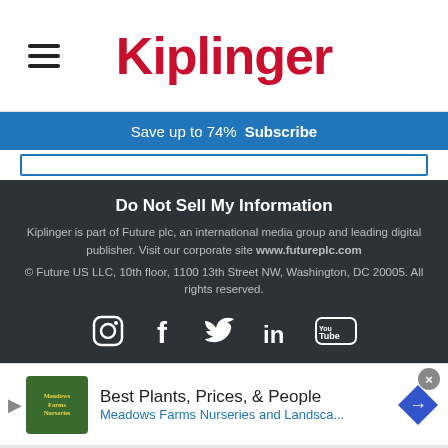Kiplinger
Save up to 74%  Subscribe
Do Not Sell My Information
Kiplinger is part of Future plc, an international media group and leading digital publisher. Visit our corporate site www.futureplc.com
© Future US LLC, 10th floor, 1100 13th Street NW, Washington, DC 20005. All rights reserved.
[Figure (infographic): Social media icons: Instagram, Facebook, Twitter, LinkedIn, YouTube]
Best Plants, Prices, & People
Meadows Farms Nurseries and Landsca...